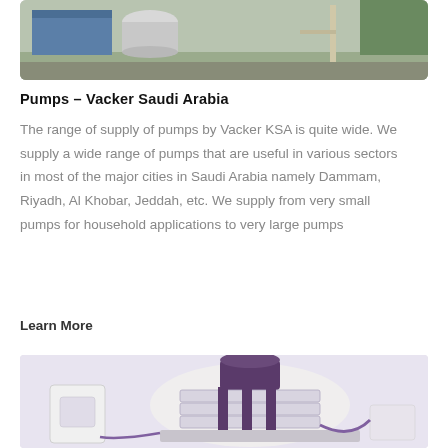[Figure (photo): Industrial pump or compressor equipment on an outdoor site with blue and white machinery and metal support structures]
Pumps – Vacker Saudi Arabia
The range of supply of pumps by Vacker KSA is quite wide. We supply a wide range of pumps that are useful in various sectors in most of the major cities in Saudi Arabia namely Dammam, Riyadh, Al Khobar, Jeddah, etc. We supply from very small pumps for household applications to very large pumps
Learn More
[Figure (photo): Large industrial pump machinery — white circular multi-stage pump unit with purple/dark top cylinder, connected pipes, hoses, and a white control panel box on the left]